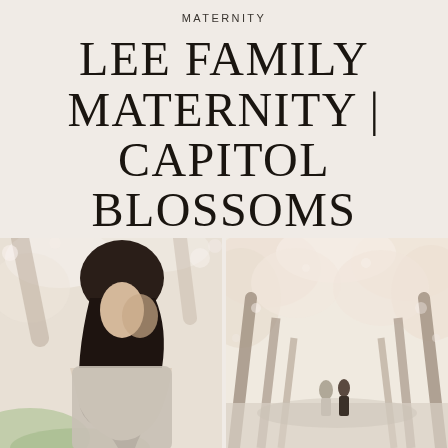/
MATERNITY
LEE FAMILY MATERNITY | CAPITOL BLOSSOMS
[Figure (photo): Close-up portrait of a pregnant woman with long dark hair looking down, surrounded by soft-focus cherry blossom trees in the background]
[Figure (photo): Wide shot of a cherry blossom tree-lined path with a couple standing in the distance beneath the blossoming branches]